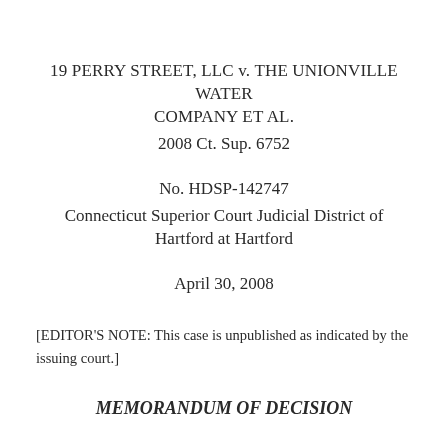19 PERRY STREET, LLC v. THE UNIONVILLE WATER COMPANY ET AL.
2008 Ct. Sup. 6752
No. HDSP-142747
Connecticut Superior Court Judicial District of Hartford at Hartford
April 30, 2008
[EDITOR'S NOTE: This case is unpublished as indicated by the issuing court.]
MEMORANDUM OF DECISION